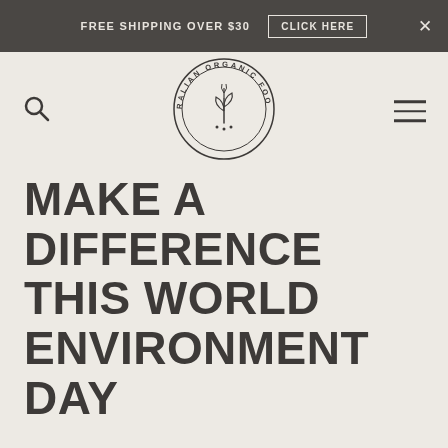FREE SHIPPING OVER $30   CLICK HERE   ×
[Figure (logo): Australian Organic Food Co. circular logo with a sprouting plant illustration in the center, surrounded by text 'AUSTRALIAN ORGANIC FOOD CO.' in a circle]
MAKE A DIFFERENCE THIS WORLD ENVIRONMENT DAY